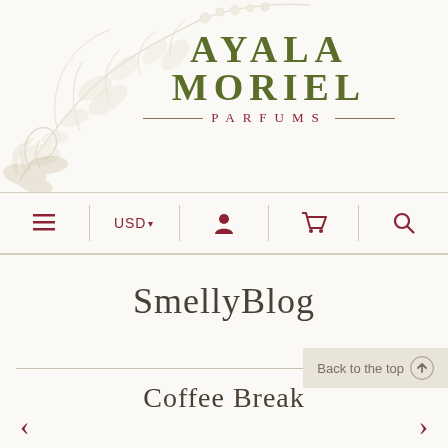[Figure (logo): Ayala Moriel Parfums logo with botanical illustration of flowering branches in beige/cream tones, company name in olive green with PARFUMS subtitle in dark red]
AYALA MORIEL — PARFUMS
SmellyBlog
Back to the top
Coffee Break